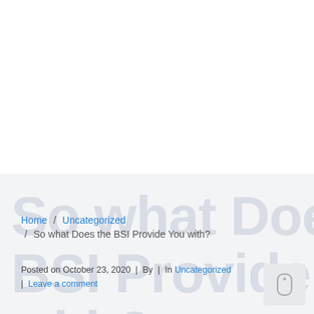So what Does the BSI Provide You with?
Home / Uncategorized / So what Does the BSI Provide You with?
Posted on October 23, 2020 | By | In Uncategorized | Leave a comment